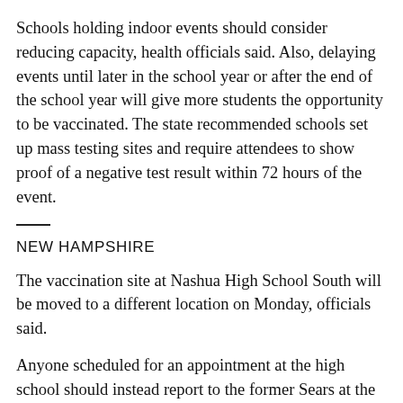Schools holding indoor events should consider reducing capacity, health officials said. Also, delaying events until later in the school year or after the end of the school year will give more students the opportunity to be vaccinated. The state recommended schools set up mass testing sites and require attendees to show proof of a negative test result within 72 hours of the event.
NEW HAMPSHIRE
The vaccination site at Nashua High School South will be moved to a different location on Monday, officials said.
Anyone scheduled for an appointment at the high school should instead report to the former Sears at the Pheasant Lane Mall, according to the state.
Appointment times are not changing.